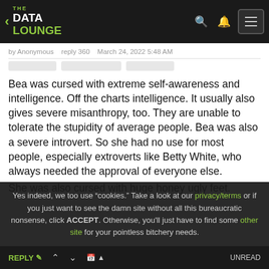THE DATA LOUNGE — navigation bar
by Anonymous   reply 360   March 24, 2022 5:48 AM
Bea was cursed with extreme self-awareness and intelligence. Off the charts intelligence. It usually also gives severe misanthropy, too. They are unable to tolerate the stupidity of average people. Bea was also a severe introvert. So she had no use for most people, especially extroverts like Betty White, who always needed the approval of everyone else.
Yes indeed, we too use "cookies." Take a look at our privacy/terms or if you just want to see the damn site without all this bureaucratic nonsense, click ACCEPT. Otherwise, you'll just have to find some other site for your pointless bitchery needs.
She was also cursed with huge honey ugly feet.
REPLY  ↑  ↓  📅  UNREAD